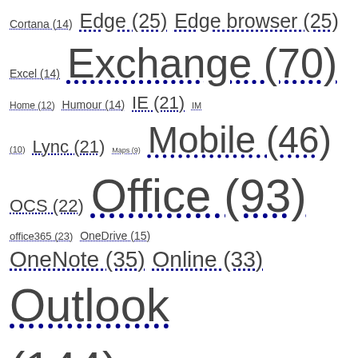Tag cloud: Cortana (14) Edge (25) Edge browser (25) Excel (14) Exchange (70) Home (12) Humour (14) IE (21) IM (10) Lync (21) Maps (9) Mobile (46) OCS (22) Office (93) office365 (23) OneDrive (15) OneNote (35) Online (33) Outlook (144) PowerPoint (13) Productivity (100) Random Stuff (57) Security (9) Sharepoint (19) Store (12) Teams (37) Time (11) To-Do (10) Unified Comms (31) Vista (18) Win7 (13) Windows 7 (19) Windows 8 (39) Windows 8.1 (10) Windows 10 (98) Windows 11 (14) Windows Phone (38)